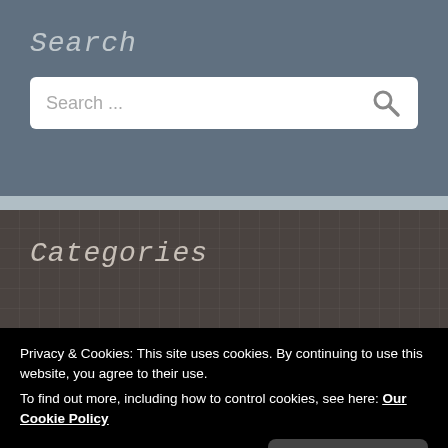Search
[Figure (screenshot): Search input box with placeholder text 'Search ...' and a magnifying glass icon on the right]
Categories
Privacy & Cookies: This site uses cookies. By continuing to use this website, you agree to their use.
To find out more, including how to control cookies, see here: Our Cookie Policy
Close and accept
Archives